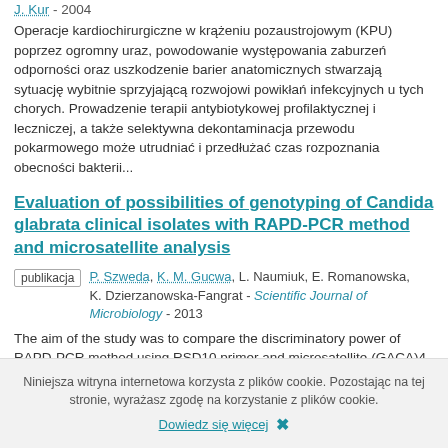J. Kur - 2004
Operacje kardiochirurgiczne w krążeniu pozaustrojowym (KPU) poprzez ogromny uraz, powodowanie występowania zaburzeń odporności oraz uszkodzenie barier anatomicznych stwarzają sytuację wybitnie sprzyjającą rozwojowi powikłań infekcyjnych u tych chorych. Prowadzenie terapii antybiotykowej profilaktycznej i leczniczej, a także selektywna dekontaminacja przewodu pokarmowego może utrudniać i przedłużać czas rozpoznania obecności bakterii...
Evaluation of possibilities of genotyping of Candida glabrata clinical isolates with RAPD-PCR method and microsatellite analysis
publikacja | P. Szweda, K. M. Gucwa, L. Naumiuk, E. Romanowska, K. Dzierzanowska-Fangrat - Scientific Journal of Microbiology - 2013
The aim of the study was to compare the discriminatory power of RAPD-PCR method using RSD10 primer and microsatellite (GACA)4 analysis for genotyping clinical
Niniejsza witryna internetowa korzysta z plików cookie. Pozostając na tej stronie, wyrażasz zgodę na korzystanie z plików cookie.